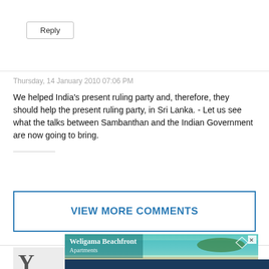Reply
Thursday, 14 January 2010 07:06 PM
We helped India's present ruling party and, therefore, they should help the present ruling party, in Sri Lanka. - Let us see what the talks between Sambanthan and the Indian Government are now going to bring.
VIEW MORE COMMENTS
[Figure (photo): Advertisement banner for Weligama Beachfront Apartments showing a tropical beach scene with turquoise water, sandy shore with a couple walking, and a diamond logo. Contact: +94 77 727 5727, southbeachweligama.com]